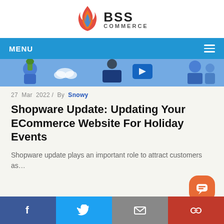[Figure (logo): BSS Commerce logo with flame icon on left and BSS COMMERCE text on right]
MENU
[Figure (screenshot): Banner image showing ecommerce/digital marketing themed illustration with blue background, people using technology, video play button, and person icon]
27 Mar 2022 / By Snowy
Shopware Update: Updating Your ECommerce Website For Holiday Events
Shopware update plays an important role to attract customers as...
[Figure (infographic): Social share bar at bottom with Facebook (blue), Twitter (light blue), Email (grey), and chain/link (red) buttons]